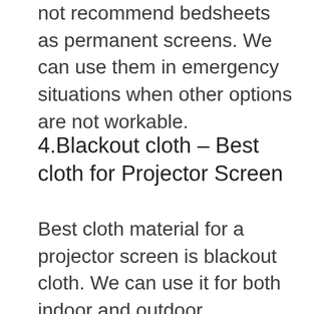not recommend bedsheets as permanent screens. We can use them in emergency situations when other options are not workable.
4.Blackout cloth – Best cloth for Projector Screen
Best cloth material for a projector screen is blackout cloth. We can use it for both indoor and outdoor purposes. Advantages of using a blackout cloth are it is sturdy, flat and projects the image well. It is also cheap. This material is available in different sizes. Its surface is